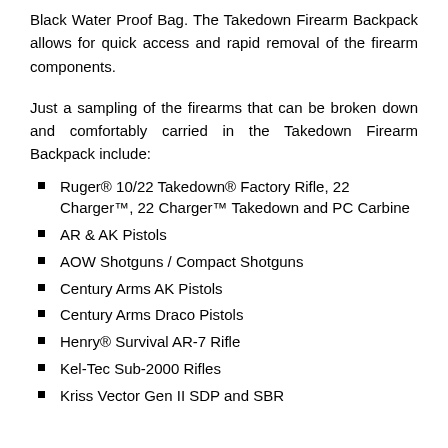Black Water Proof Bag. The Takedown Firearm Backpack allows for quick access and rapid removal of the firearm components.
Just a sampling of the firearms that can be broken down and comfortably carried in the Takedown Firearm Backpack include:
Ruger® 10/22 Takedown® Factory Rifle, 22 Charger™, 22 Charger™ Takedown and PC Carbine
AR & AK Pistols
AOW Shotguns / Compact Shotguns
Century Arms AK Pistols
Century Arms Draco Pistols
Henry® Survival AR-7 Rifle
Kel-Tec Sub-2000 Rifles
Kriss Vector Gen II SDP and SBR